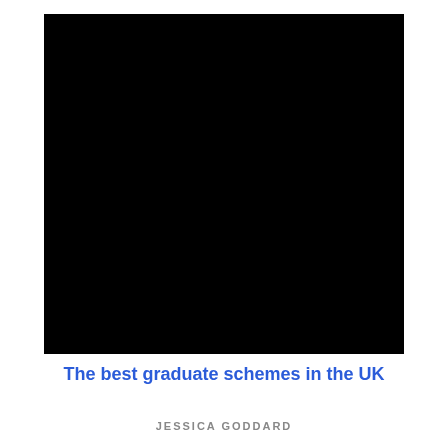[Figure (photo): Large black rectangular cover image filling most of the upper portion of the page]
The best graduate schemes in the UK
JESSICA GODDARD